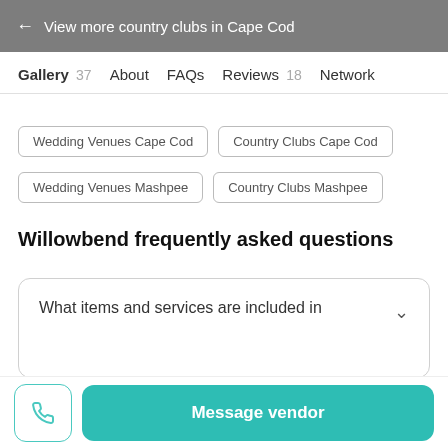← View more country clubs in Cape Cod
Gallery 37   About   FAQs   Reviews 18   Network
Wedding Venues Cape Cod
Country Clubs Cape Cod
Wedding Venues Mashpee
Country Clubs Mashpee
Willowbend frequently asked questions
What items and services are included in
Message vendor